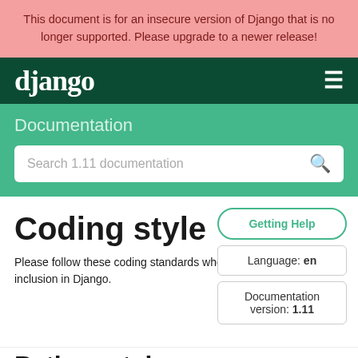This document is for an insecure version of Django that is no longer supported. Please upgrade to a newer release!
[Figure (logo): Django logo in white on dark green navigation bar with hamburger menu icon]
Documentation
Search 1.11 documentation
Coding style
Please follow these coding standards when writing code for inclusion in Django.
Getting Help
Language: en
Documentation version: 1.11
Python style